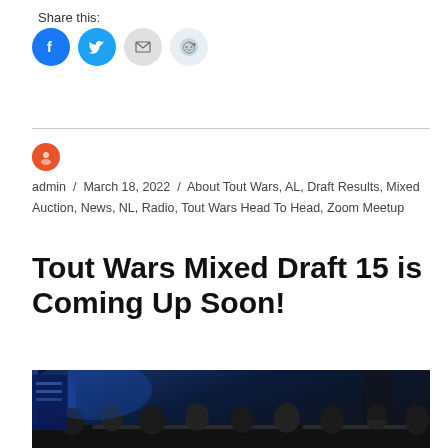Share this:
[Figure (infographic): Social share buttons: Facebook (blue circle), Twitter (blue circle), Email (grey circle), Reddit (light blue circle)]
admin / March 18, 2022 / About Tout Wars, AL, Draft Results, Mixed Auction, News, NL, Radio, Tout Wars Head To Head, Zoom Meetup
Tout Wars Mixed Draft 15 is Coming Up Soon!
[Figure (photo): Group of people sitting around tables in a room with blue lighting and banners, appearing to be at a fantasy sports draft event]